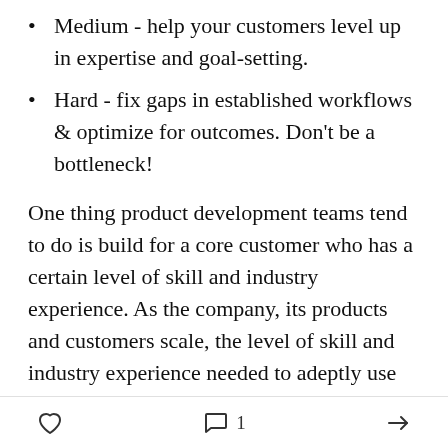Medium - help your customers level up in expertise and goal-setting.
Hard - fix gaps in established workflows & optimize for outcomes. Don't be a bottleneck!
One thing product development teams tend to do is build for a core customer who has a certain level of skill and industry experience. As the company, its products and customers scale, the level of skill and industry experience needed to adeptly use the company's products grows in parallel. This is known as going upmarket. Most successful B2B companies go down this path in search of growth opportunities.
Growth opportunities can be found not only upmarket,
♡   💬 1   ↗